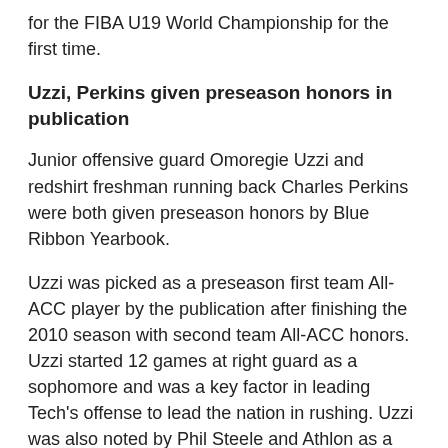for the FIBA U19 World Championship for the first time.
Uzzi, Perkins given preseason honors in publication
Junior offensive guard Omoregie Uzzi and redshirt freshman running back Charles Perkins were both given preseason honors by Blue Ribbon Yearbook.
Uzzi was picked as a preseason first team All-ACC player by the publication after finishing the 2010 season with second team All-ACC honors. Uzzi started 12 games at right guard as a sophomore and was a key factor in leading Tech's offense to lead the nation in rushing. Uzzi was also noted by Phil Steele and Athlon as a preseason first-team All-ACC guard.
Perkins was picked by Blue Ribbon Yearbook as the ACC Preseason Newcomer of the year. After verbally committing to the Jackets for many months, Perkins enrolled early at Tech in 2010 and redshirted his